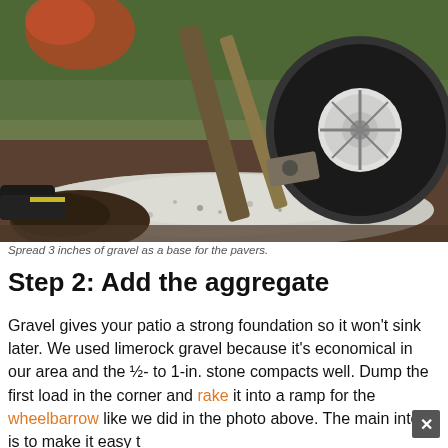[Figure (photo): A wheelbarrow wheel resting on a pile of light-colored gravel/crushed limerock aggregate spread on the ground, with dark soil visible nearby and green plants in the background.]
Spread 3 inches of gravel as a base for the pavers.
Step 2: Add the aggregate
Gravel gives your patio a strong foundation so it won't sink later. We used limerock gravel because it's economical in our area and the ½- to 1-in. stone compacts well. Dump the first load in the corner and rake it into a ramp for the wheelbarrow like we did in the photo above. The main intent is to make it easy t...